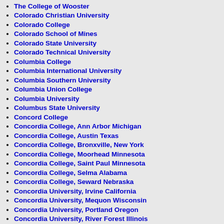The College of Wooster
Colorado Christian University
Colorado College
Colorado School of Mines
Colorado State University
Colorado Technical University
Columbia College
Columbia International University
Columbia Southern University
Columbia Union College
Columbia University
Columbus State University
Concord College
Concordia College, Ann Arbor Michigan
Concordia College, Austin Texas
Concordia College, Bronxville, New York
Concordia College, Moorhead Minnesota
Concordia College, Saint Paul Minnesota
Concordia College, Selma Alabama
Concordia College, Seward Nebraska
Concordia University, Irvine California
Concordia University, Mequon Wisconsin
Concordia University, Portland Oregon
Concordia University, River Forest Illinois
Connecticut College
Converse College
Cooper Union for the Advancement of Science and Art
Coppin State College
Cornell College, Iowa
Cornell University